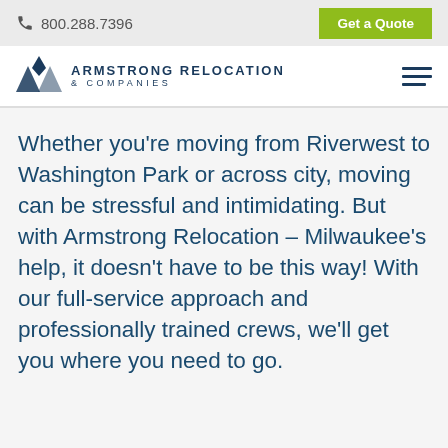800.288.7396   Get a Quote
[Figure (logo): Armstrong Relocation & Companies logo with geometric diamond/triangle icon and navigation hamburger menu]
Whether you’re moving from Riverwest to Washington Park or across city, moving can be stressful and intimidating. But with Armstrong Relocation – Milwaukee’s help, it doesn’t have to be this way! With our full-service approach and professionally trained crews, we’ll get you where you need to go.